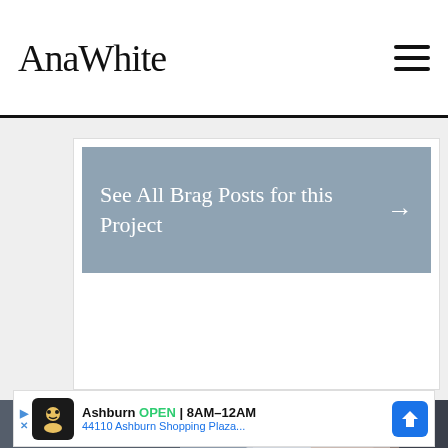AnaWhite
See All Brag Posts for this Project →
[Figure (photo): Partial view of a person in a white shirt against a grey background, video thumbnail]
Ashburn OPEN 8AM–12AM 44110 Ashburn Shopping Plaza...